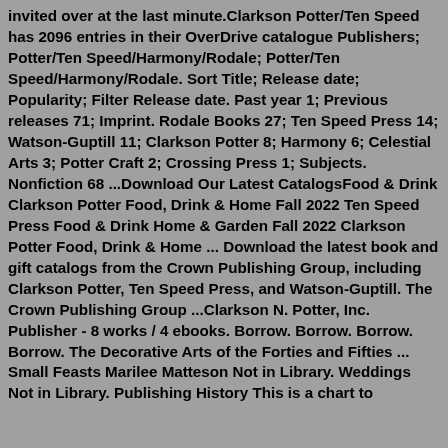invited over at the last minute.Clarkson Potter/Ten Speed has 2096 entries in their OverDrive catalogue Publishers; Potter/Ten Speed/Harmony/Rodale; Potter/Ten Speed/Harmony/Rodale. Sort Title; Release date; Popularity; Filter Release date. Past year 1; Previous releases 71; Imprint. Rodale Books 27; Ten Speed Press 14; Watson-Guptill 11; Clarkson Potter 8; Harmony 6; Celestial Arts 3; Potter Craft 2; Crossing Press 1; Subjects. Nonfiction 68 ...Download Our Latest CatalogsFood & Drink Clarkson Potter Food, Drink & Home Fall 2022 Ten Speed Press Food & Drink Home & Garden Fall 2022 Clarkson Potter Food, Drink & Home ... Download the latest book and gift catalogs from the Crown Publishing Group, including Clarkson Potter, Ten Speed Press, and Watson-Guptill. The Crown Publishing Group ...Clarkson N. Potter, Inc. Publisher - 8 works / 4 ebooks. Borrow. Borrow. Borrow. Borrow. The Decorative Arts of the Forties and Fifties ... Small Feasts Marilee Matteson Not in Library. Weddings Not in Library. Publishing History This is a chart to